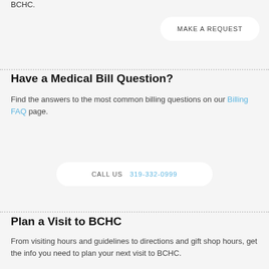BCHC.
MAKE A REQUEST
Have a Medical Bill Question?
Find the answers to the most common billing questions on our Billing FAQ page.
CALL US  319-332-0999
Plan a Visit to BCHC
From visiting hours and guidelines to directions and gift shop hours, get the info you need to plan your next visit to BCHC.